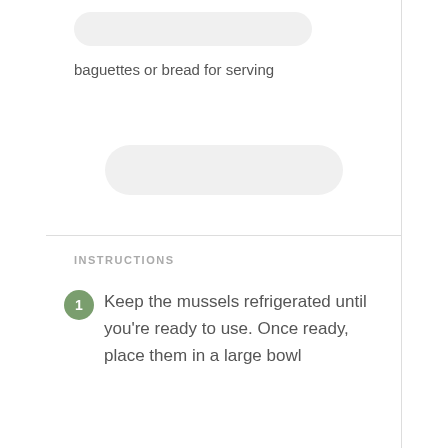Navigation and social icons header
baguettes or bread for serving
INSTRUCTIONS
1. Keep the mussels refrigerated until you're ready to use. Once ready, place them in a large bowl